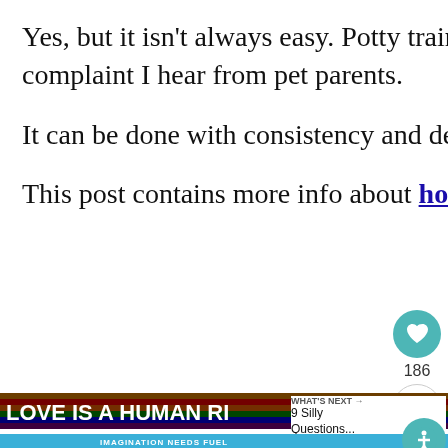Yes, but it isn't always easy. Potty training issues seems to be the biggest complaint I hear from pet parents.
It can be done with consistency and determination.
This post contains more info about housetraining a chihuahua.
[Figure (infographic): Advertisement banner: 'LOVE IS A HUMAN RIGHT' with rainbow colors and text 'LOVE COMPASSION CHARITY BELONGING' below. Small chihuahua image on right side. 'WHAT'S NEXT' sidebar with '9 Silly Questions...' Second ad below shows child eating a CLIF Kid ZBAR with text 'IMAGINATION NEEDS FUEL'.]